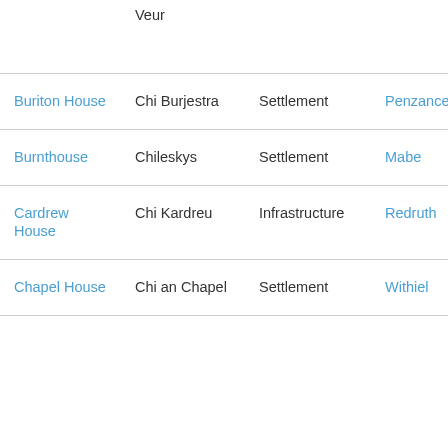| Name | Cornish | Type | Parish |
| --- | --- | --- | --- |
| Veur |  |  |  |
| Buriton House | Chi Burjestra | Settlement | Penzance |
| Burnthouse | Chileskys | Settlement | Mabe |
| Cardrew House | Chi Kardreu | Infrastructure | Redruth |
| Chapel House | Chi an Chapel | Settlement | Withiel |